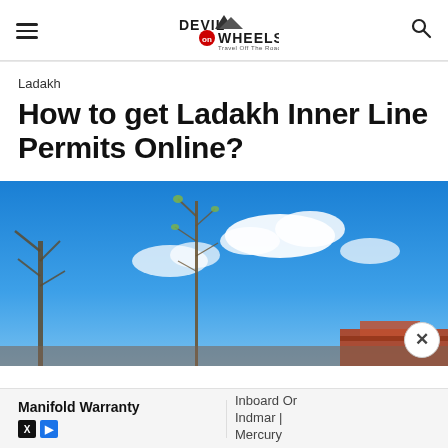Devil on Wheels — Travel Off The Road
Ladakh
How to get Ladakh Inner Line Permits Online?
[Figure (photo): Blue sky with white clouds and bare tree branches in the foreground, with a building visible at the bottom right corner.]
Manifold Warranty | Inboard Or Indmar | Mercury